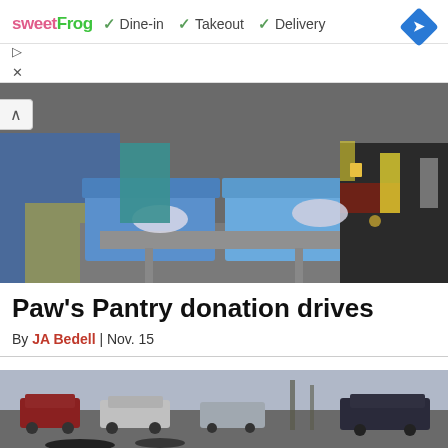[Figure (infographic): SweetFrog advertisement banner showing logo and dine-in, takeout, delivery checkmarks with navigation diamond icon]
[Figure (photo): People at a food pantry donation drive, handling blue plastic bags in storage containers on a cart]
Paw's Pantry donation drives
By JA Bedell | Nov. 15
[Figure (photo): Street scene with cars and bicycles]